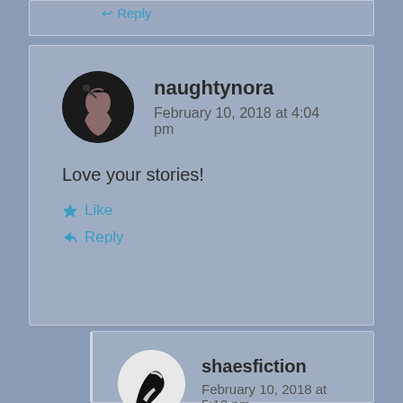naughtynora
February 10, 2018 at 4:04 pm
Love your stories!
Like
Reply
shaesfiction
February 10, 2018 at 5:10 pm